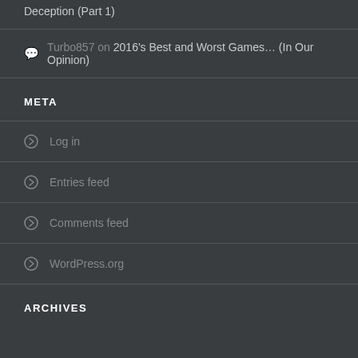Deception (Part 1)
Turbo857 on 2016's Best and Worst Games… (In Our Opinion)
META
Log in
Entries feed
Comments feed
WordPress.org
ARCHIVES